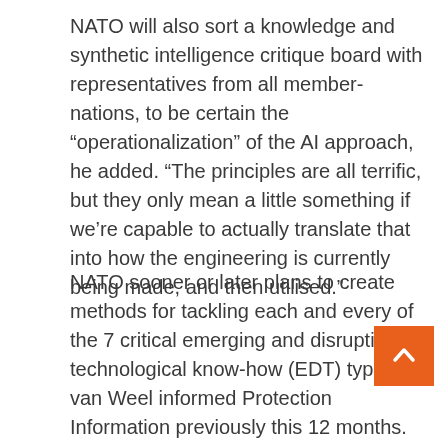NATO will also sort a knowledge and synthetic intelligence critique board with representatives from all member-nations, to be certain the “operationalization” of the AI approach, he added. “The principles are all terrific, but they only mean a little something if we’re capable to actually translate that into how the engineering is currently being made, and then utilised.”
NATO sooner or later plans to create methods for tackling each and every of the 7 critical emerging and disruptive technological know-how (EDT) types, van Weel informed Protection Information previously this 12 months. Acquiring that strategy in spot would enable the partnership to start off implementing AI capabilities into armed forces requirements, and guarantee interoperability for NATO-dependent and allied methods, he said at the time.